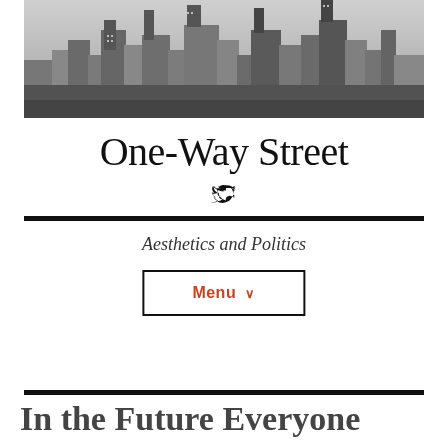[Figure (photo): Black and white aerial photograph of a dense urban skyline with tall skyscrapers and city buildings]
One-Way Street
[Figure (illustration): Twitter bird icon]
Aesthetics and Politics
Menu ∨
In the Future Everyone